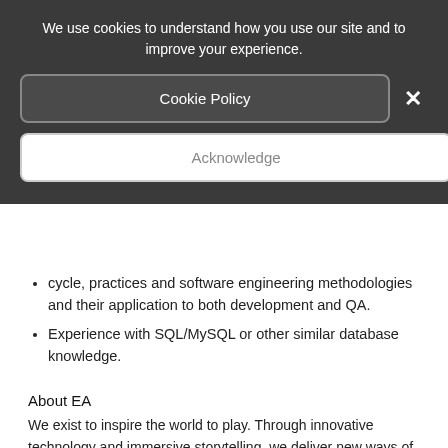We use cookies to understand how you use our site and to improve your experience.
Cookie Policy
×
Acknowledge
cycle, practices and software engineering methodologies and their application to both development and QA.
Experience with SQL/MySQL or other similar database knowledge.
About EA
We exist to inspire the world to play. Through innovative technology and immersive storytelling, we deliver new ways of experiencing worlds of interactive entertainment for our